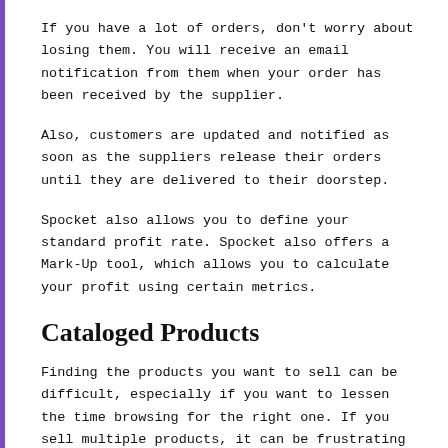If you have a lot of orders, don't worry about losing them. You will receive an email notification from them when your order has been received by the supplier.
Also, customers are updated and notified as soon as the suppliers release their orders until they are delivered to their doorstep.
Spocket also allows you to define your standard profit rate. Spocket also offers a Mark-Up tool, which allows you to calculate your profit using certain metrics.
Cataloged Products
Finding the products you want to sell can be difficult, especially if you want to lessen the time browsing for the right one. If you sell multiple products, it can be frustrating to go through each one manually.
Spocket has a dashboard that allows you to order your products with only